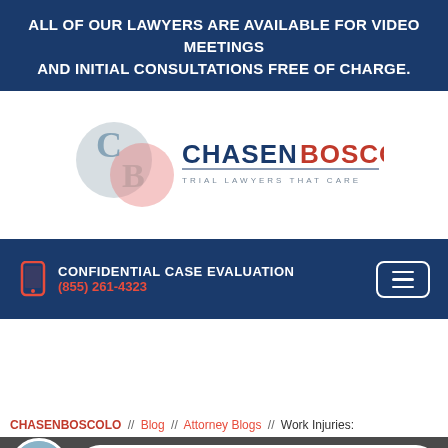ALL OF OUR LAWYERS ARE AVAILABLE FOR VIDEO MEETINGS AND INITIAL CONSULTATIONS FREE OF CHARGE.
[Figure (logo): Chasen Boscolo law firm logo with overlapping C and B circular emblems and text CHASENBOSCOLO TRIAL LAWYERS THAT CARE]
CONFIDENTIAL CASE EVALUATION
(855) 261-4323
CHASENBOSCOLO // Blog // Attorney Blogs // Work Injuries:
LIVE CHAT > START NOW